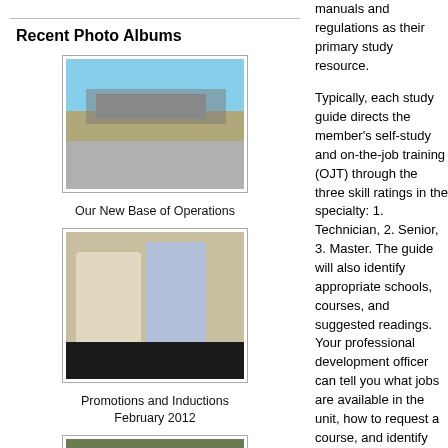Recent Photo Albums
[Figure (photo): Photo of Our New Base of Operations — an airstrip/hangar facility under a blue sky]
Our New Base of Operations
[Figure (photo): Photo of Promotions and Inductions February 2012 — two people in military uniforms]
Promotions and Inductions February 2012
[Figure (photo): Photo of C-130 Hercules — group of military personnel in camouflage uniforms posing outdoors]
C-130 Hercules
manuals and regulations as their primary study resource.
Typically, each study guide directs the member's self-study and on-the-job training (OJT) through the three skill ratings in the specialty: 1. Technician, 2. Senior, 3. Master. The guide will also identify appropriate schools, courses, and suggested readings. Your professional development officer can tell you what jobs are available in the unit, how to request a course, and identify those requiring textbooks and